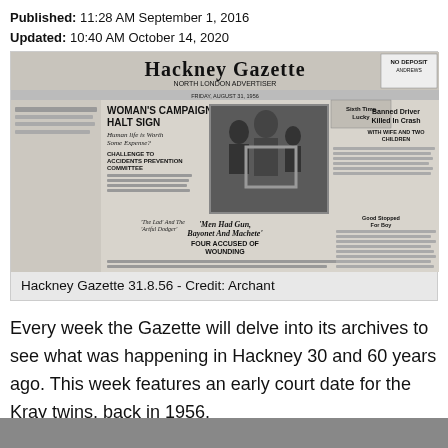Published: 11:28 AM September 1, 2016
Updated: 10:40 AM October 14, 2020
[Figure (photo): Scanned front page of the Hackney Gazette and North London Advertiser dated Friday August 31, 1956, showing headlines about Woman's Campaign for Halt Sign, Banned Driver Killed in Crash, Men Had Gun Bayonet and Machete, and a photograph of people posing with a picture frame.]
Hackney Gazette 31.8.56 - Credit: Archant
Every week the Gazette will delve into its archives to see what was happening in Hackney 30 and 60 years ago. This week features an early court date for the Kray twins, back in 1956.